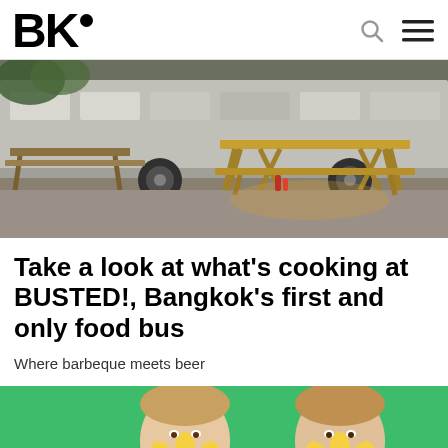BK•
[Figure (photo): Outdoor dining area with wooden picnic tables and benches next to a large bus/food truck, evening lighting]
Take a look at what's cooking at BUSTED!, Bangkok's first and only food bus
Where barbeque meets beer
[Figure (photo): Two men holding sunflowers in front of their faces against a bright green background]